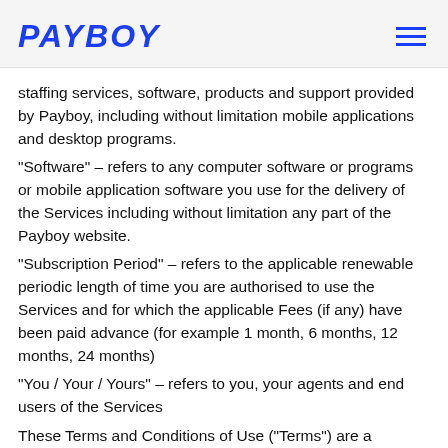PAYBOY
staffing services, software, products and support provided by Payboy, including without limitation mobile applications and desktop programs.
“Software” – refers to any computer software or programs or mobile application software you use for the delivery of the Services including without limitation any part of the Payboy website.
“Subscription Period” – refers to the applicable renewable periodic length of time you are authorised to use the Services and for which the applicable Fees (if any) have been paid advance (for example 1 month, 6 months, 12 months, 24 months)
“You / Your / Yours” – refers to you, your agents and end users of the Services
These Terms and Conditions of Use (“Terms”) are a contract between you and Payboy and govern your use of the Services offered and provided by Payboy and our website at https://www.payboy.sg
By accepting these Terms, by accessing or using the Services or any website operated by us, or by authorising or permitting any agent or end-user to access or use the Services, you agree to be bound by these Terms.
If you are entering into these Terms on behalf of a company